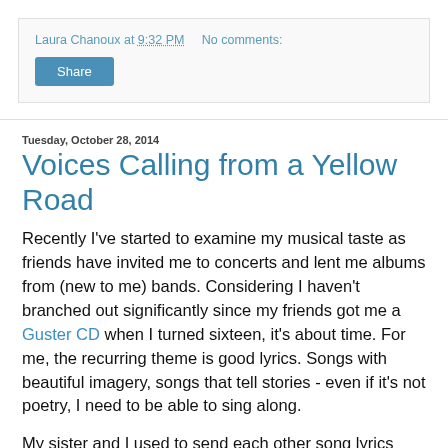Laura Chanoux at 9:32 PM   No comments:
Share
Tuesday, October 28, 2014
Voices Calling from a Yellow Road
Recently I've started to examine my musical taste as friends have invited me to concerts and lent me albums from (new to me) bands. Considering I haven't branched out significantly since my friends got me a Guster CD when I turned sixteen, it's about time. For me, the recurring theme is good lyrics. Songs with beautiful imagery, songs that tell stories - even if it's not poetry, I need to be able to sing along.
My sister and I used to send each other song lyrics quizzes when I was in high school and she was in grad school. One particularly memorable themed quiz was all drug-related songs, because earlier that summer I had ruined some of my mom's favorite classics (specifically "The Big Bright Green